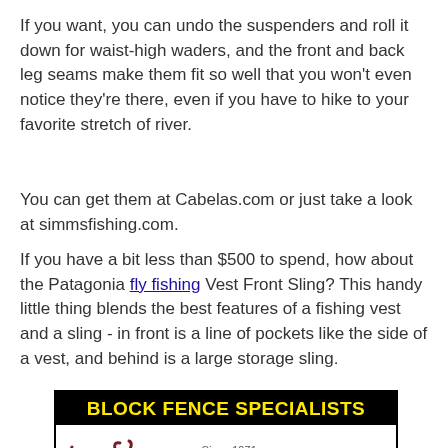If you want, you can undo the suspenders and roll it down for waist-high waders, and the front and back leg seams make them fit so well that you won't even notice they're there, even if you have to hike to your favorite stretch of river.
You can get them at Cabelas.com or just take a look at simmsfishing.com.
If you have a bit less than $500 to spend, how about the Patagonia fly fishing Vest Front Sling? This handy little thing blends the best features of a fishing vest and a sling - in front is a line of pockets like the side of a vest, and behind is a large storage sling.
[Figure (other): Advertisement for Toro Construction - Block Fence Specialists. Black background header with yellow bold text reading 'BLOCK FENCE SPECIALISTS'. Below is a white section with a bull logo on the left, 'Since 1971' in italic text, and 'Toro Construction' in dark red serif font.]